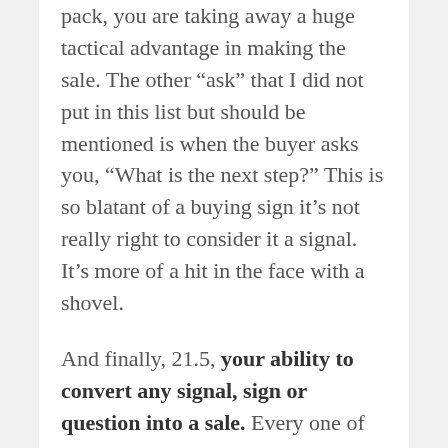pack, you are taking away a huge tactical advantage in making the sale. The other “ask” that I did not put in this list but should be mentioned is when the buyer asks you, “What is the next step?” This is so blatant of a buying sign it’s not really right to consider it a signal. It’s more of a hit in the face with a shovel.
And finally, 21.5, your ability to convert any signal, sign or question into a sale. Every one of these buying signals or questions can be turned into a closing question that will lead to a